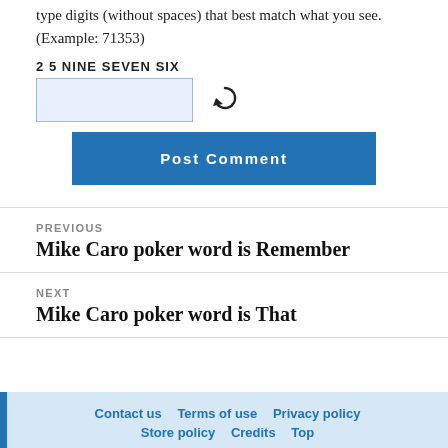type digits (without spaces) that best match what you see. (Example: 71353)
2 5 NINE SEVEN SIX
[Figure (screenshot): CAPTCHA input field with refresh icon]
Post Comment
PREVIOUS
Mike Caro poker word is Remember
NEXT
Mike Caro poker word is That
Contact us   Terms of use   Privacy policy   Store policy   Credits   Top